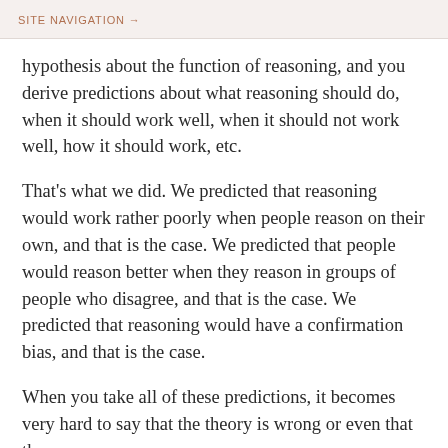SITE NAVIGATION →
hypothesis about the function of reasoning, and you derive predictions about what reasoning should do, when it should work well, when it should not work well, how it should work, etc.
That's what we did. We predicted that reasoning would work rather poorly when people reason on their own, and that is the case. We predicted that people would reason better when they reason in groups of people who disagree, and that is the case. We predicted that reasoning would have a confirmation bias, and that is the case.
When you take all of these predictions, it becomes very hard to say that the theory is wrong or even that the